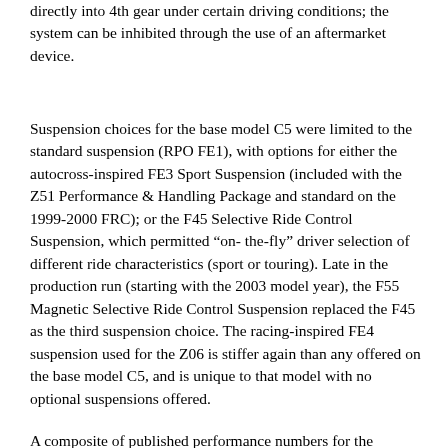Gear shifting results in an obligatory shift from 1st gear directly into 4th gear under certain driving conditions; the system can be inhibited through the use of an aftermarket device.
Suspension choices for the base model C5 were limited to the standard suspension (RPO FE1), with options for either the autocross-inspired FE3 Sport Suspension (included with the Z51 Performance & Handling Package and standard on the 1999-2000 FRC); or the F45 Selective Ride Control Suspension, which permitted “on-the-fly” driver selection of different ride characteristics (sport or touring). Late in the production run (starting with the 2003 model year), the F55 Magnetic Selective Ride Control Suspension replaced the F45 as the third suspension choice. The racing-inspired FE4 suspension used for the Z06 is stiffer again than any offered on the base model C5, and is unique to that model with no optional suspensions offered.
A composite of published performance numbers for the